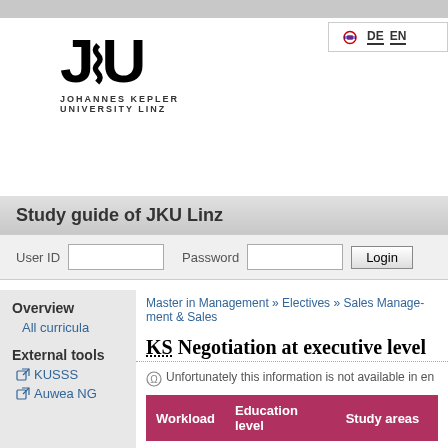Study guide of JKU Linz
[Figure (logo): JKU Johannes Kepler University Linz logo with stylized JKU letters]
User ID   Password   Login
Overview
All curricula
External tools
KUSSS
Auwea NG
Master in Management » Electives » Sales Management & Sales
KS Negotiation at executive level
Unfortunately this information is not available in en
| Workload | Education level | Study areas |
| --- | --- | --- |
| 1,5 ECTS | W_AS1 - Weiterbildung AS 1. Jahr | Business Administration |
Detailed information